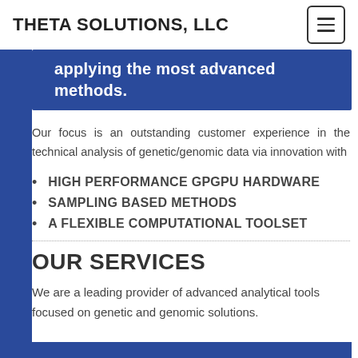THETA SOLUTIONS, LLC
applying the most advanced methods.
Our focus is an outstanding customer experience in the technical analysis of genetic/genomic data via innovation with
HIGH PERFORMANCE GPGPU HARDWARE
SAMPLING BASED METHODS
A FLEXIBLE COMPUTATIONAL TOOLSET
OUR SERVICES
We are a leading provider of advanced analytical tools focused on genetic and genomic solutions.